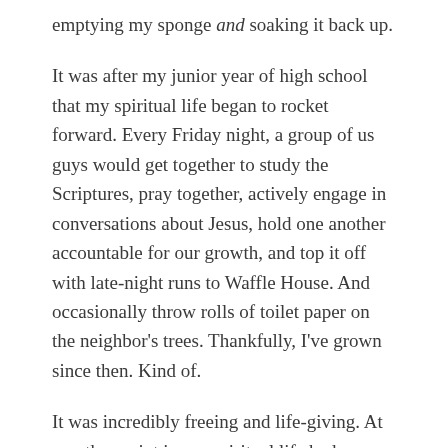emptying my sponge and soaking it back up.
It was after my junior year of high school that my spiritual life began to rocket forward. Every Friday night, a group of us guys would get together to study the Scriptures, pray together, actively engage in conversations about Jesus, hold one another accountable for our growth, and top it off with late-night runs to Waffle House. And occasionally throw rolls of toilet paper on the neighbor's trees. Thankfully, I've grown since then. Kind of.
It was incredibly freeing and life-giving. At no other point in my spiritual life had my opinion been truly valued like with that group. At no other point had I been listened to rather than preached at. At no other point had I felt so closely connected relationally to people